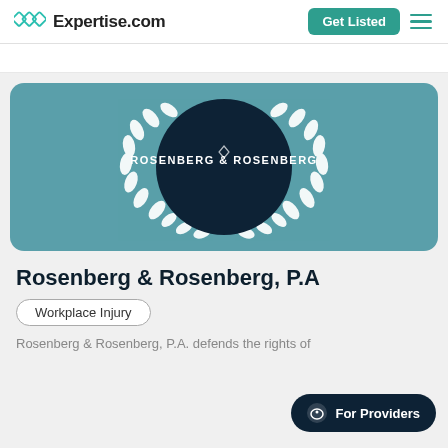Expertise.com
[Figure (logo): Rosenberg & Rosenberg law firm logo inside a dark navy circle with white laurel wreath on teal background]
Rosenberg & Rosenberg, P.A
Workplace Injury
Rosenberg & Rosenberg, P.A. defends the rights of